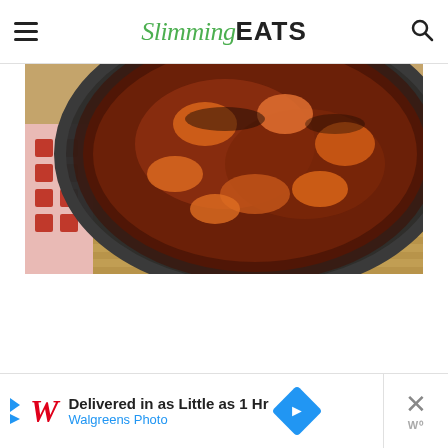Slimming EATS
[Figure (photo): Overhead view of a cast iron skillet with BBQ chicken or shrimp in a rich dark sauce, placed on a woven rattan mat with a red and white patterned cloth napkin visible on the left.]
[Figure (infographic): Walgreens advertisement banner: 'Delivered in as Little as 1 Hr' — Walgreens Photo]